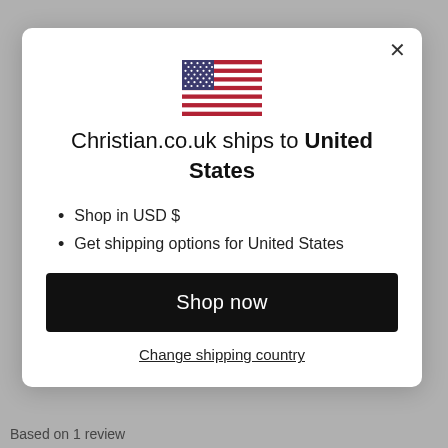[Figure (illustration): US flag emoji/icon displayed centered in modal]
Christian.co.uk ships to United States
Shop in USD $
Get shipping options for United States
Shop now
Change shipping country
Based on 1 review